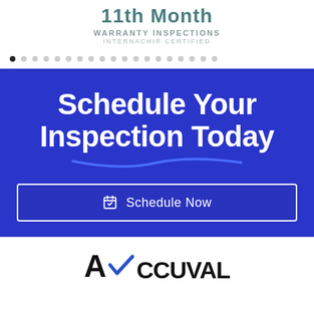11th Month WARRANTY INSPECTIONS INTERNACHI® CERTIFIED
[Figure (other): Carousel dot navigation indicators with one filled black dot and many grey dots]
Schedule Your Inspection Today
Schedule Now
[Figure (logo): Accuval logo with large A and checkmark in blue]